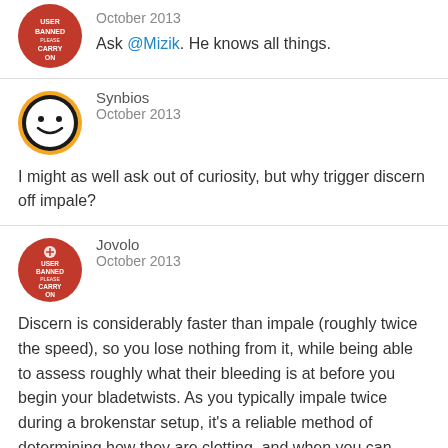Ask @Mizik. He knows all things.
Synbios
October 2013
I might as well ask out of curiosity, but why trigger discern off impale?
Jovolo
October 2013
Discern is considerably faster than impale (roughly twice the speed), so you lose nothing from it, while being able to assess roughly what their bleeding is at before you begin your bladetwists. As you typically impale twice during a brokenstar setup, it's a reliable method of determining how they are clotting, and when you can withdraw/sheathe/brokenstar.